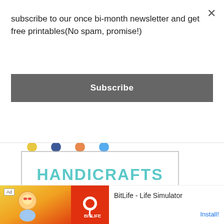subscribe to our once bi-month newsletter and get free printables(No spam, promise!)
Subscribe
[Figure (screenshot): Handicrafts Blog Series logo/banner with teal block lettering and gray subtitle with horizontal decorative lines inside a bordered box]
FEATURED POST
[Figure (screenshot): Ad banner for BitLife - Life Simulator mobile app with cartoon character, red background with sperm logo icon, and Install button]